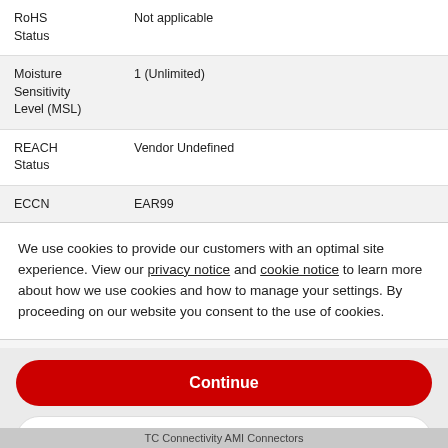| RoHS Status | Not applicable |
| Moisture Sensitivity Level (MSL) | 1 (Unlimited) |
| REACH Status | Vendor Undefined |
| ECCN | EAR99 |
We use cookies to provide our customers with an optimal site experience. View our privacy notice and cookie notice to learn more about how we use cookies and how to manage your settings. By proceeding on our website you consent to the use of cookies.
Continue
Exit
Privacy Notice
TC Connectivity AMI Connectors